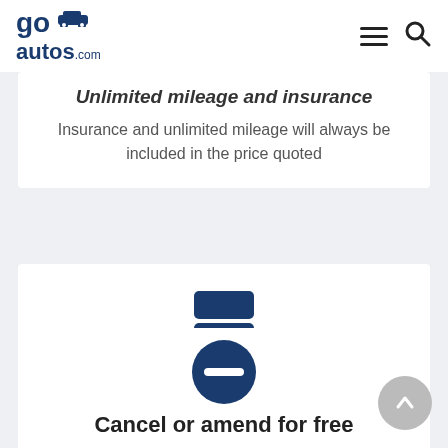go-autos.com navigation header
Unlimited mileage and insurance
Insurance and unlimited mileage will always be included in the price quoted
[Figure (illustration): Credit card icon in dark navy blue]
No hidden costs or fees
We never add any credit card fees or hidden costs
[Figure (illustration): Dark navy blue circle with horizontal minus bar]
Cancel or amend for free